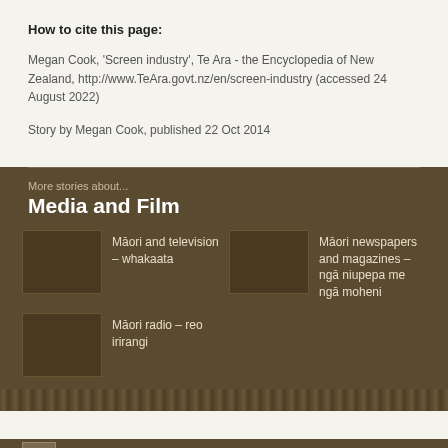How to cite this page:
Megan Cook, 'Screen industry', Te Ara - the Encyclopedia of New Zealand, http://www.TeAra.govt.nz/en/screen-industry (accessed 24 August 2022)
Story by Megan Cook, published 22 Oct 2014
More stories about...
Media and Film
Māori and television – whakaata
Māori newspapers and magazines – ngā niupepa me ngā moheni
Māori radio – reo irirangi